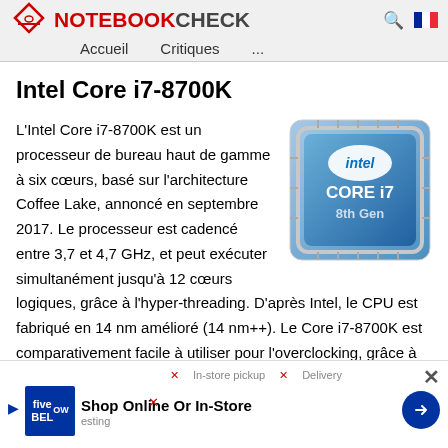NOTEBOOKCHECK — Accueil   Critiques   ...
Intel Core i7-8700K
[Figure (photo): Intel Core i7 8th Gen processor chip image — a silver/blue square chip with the Intel logo, 'CORE i7', '8th Gen' text on a blue background]
L'Intel Core i7-8700K est un processeur de bureau haut de gamme à six cœurs, basé sur l'architecture Coffee Lake, annoncé en septembre 2017. Le processeur est cadencé entre 3,7 et 4,7 GHz, et peut exécuter simultanément jusqu'à 12 cœurs logiques, grâce à l'hyper-threading. D'après Intel, le CPU est fabriqué en 14 nm amélioré (14 nm++). Le Core i7-8700K est comparativement facile à utiliser pour l'overclocking, grâce à son multiplicateur débloqué.
[Figure (screenshot): Advertisement banner for Five Below: 'Shop Online Or In-Store' with store pickup and delivery options marked with red X, Five Below logo and blue navigation arrow]